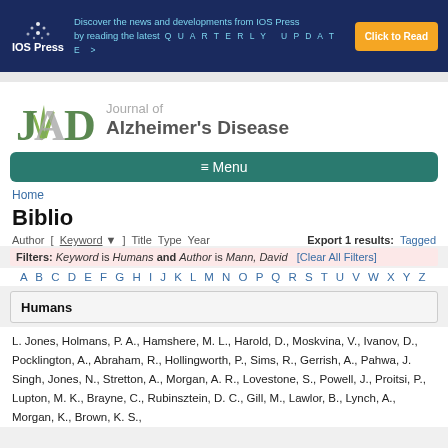[Figure (screenshot): IOS Press banner advertisement with blue background, dots logo, cyan text about quarterly update, and orange 'Click to Read' button]
[Figure (logo): Journal of Alzheimer's Disease logo with JAD letters and plant illustration]
≡ Menu
Home
Biblio
Author [ Keyword ] Title Type Year   Export 1 results: Tagged
Filters: Keyword is Humans and Author is Mann, David [Clear All Filters]
A B C D E F G H I J K L M N O P Q R S T U V W X Y Z
Humans
L. Jones, Holmans, P. A., Hamshere, M. L., Harold, D., Moskvina, V., Ivanov, D., Pocklington, A., Abraham, R., Hollingworth, P., Sims, R., Gerrish, A., Pahwa, J. Singh, Jones, N., Stretton, A., Morgan, A. R., Lovestone, S., Powell, J., Proitsi, P., Lupton, M. K., Brayne, C., Rubinsztein, D. C., Gill, M., Lawlor, B., Lynch, A., Morgan, K., Brown, K. S.,